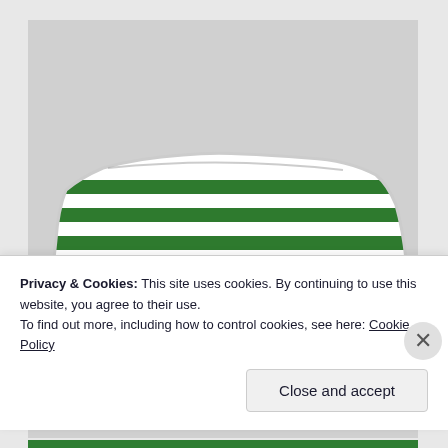[Figure (photo): A decorative throw pillow with white and green horizontal stripes, photographed against a light gray background. The pillow has a rounded rectangular shape with piped edges.]
Privacy & Cookies: This site uses cookies. By continuing to use this website, you agree to their use.
To find out more, including how to control cookies, see here: Cookie Policy
Close and accept